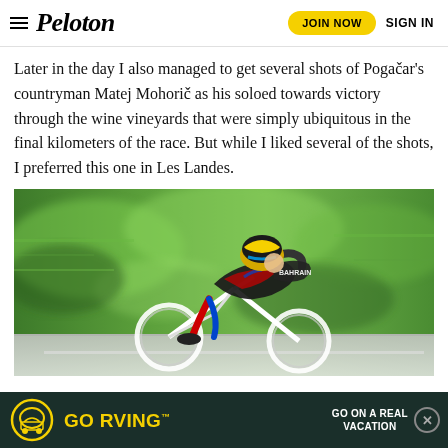Peloton — JOIN NOW  SIGN IN
Later in the day I also managed to get several shots of Pogačar's countryman Matej Mohorič as his soloed towards victory through the wine vineyards that were simply ubiquitous in the final kilometers of the race. But while I liked several of the shots, I preferred this one in Les Landes.
[Figure (photo): Cyclist wearing a yellow and black helmet and Bahrain team jersey racing at high speed past blurred green foliage background]
[Figure (infographic): GO RVING advertisement banner with yellow RV logo on dark green background, text reads GO RVING GO ON A REAL VACATION]